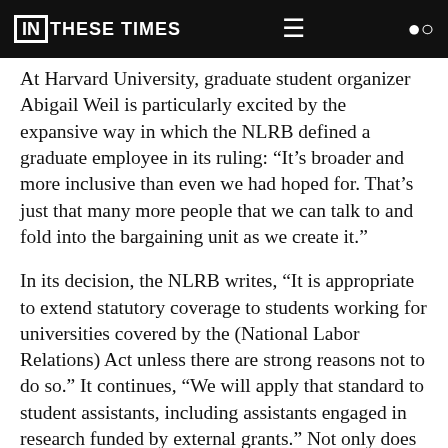IN THESE TIMES
At Harvard University, graduate student organizer Abigail Weil is particularly excited by the expansive way in which the NLRB defined a graduate employee in its ruling: “It’s broader and more inclusive than even we had hoped for. That’s just that many more people that we can talk to and fold into the bargaining unit as we create it.”
In its decision, the NLRB writes, “It is appropriate to extend statutory coverage to students working for universities covered by the (National Labor Relations) Act unless there are strong reasons not to do so.” It continues, “We will apply that standard to student assistants, including assistants engaged in research funded by external grants.” Not only does